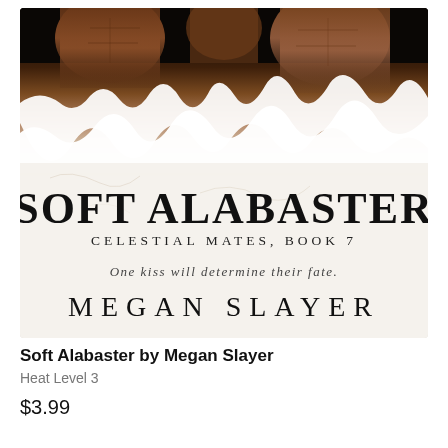[Figure (illustration): Book cover for 'Soft Alabaster' by Megan Slayer. Top portion shows dark background with figures/torsos. Lower portion transitions to a white/light marble-like texture. Cover text reads: SOFT ALABASTER, CELESTIAL MATES, BOOK 7, 'One kiss will determine their fate.', MEGAN SLAYER.]
Soft Alabaster by Megan Slayer
Heat Level 3
$3.99